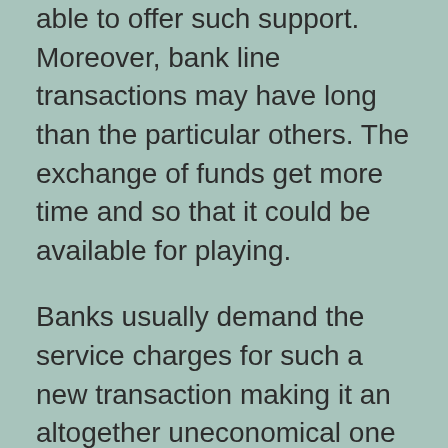able to offer such support. Moreover, bank line transactions may have long than the particular others. The exchange of funds get more time and so that it could be available for playing.
Banks usually demand the service charges for such a new transaction making it an altogether uneconomical one particular when the deal is a smaller one.
Personal Look at
Today, many internet casinos online accept individual check as one particular deposit